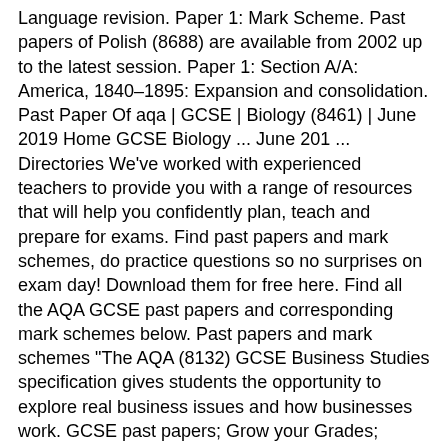Language revision. Paper 1: Mark Scheme. Past papers of Polish (8688) are available from 2002 up to the latest session. Paper 1: Section A/A: America, 1840–1895: Expansion and consolidation. Past Paper Of aqa | GCSE | Biology (8461) | June 2019 Home GCSE Biology ... June 201 ... Directories We've worked with experienced teachers to provide you with a range of resources that will help you confidently plan, teach and prepare for exams. Find past papers and mark schemes, do practice questions so no surprises on exam day! Download them for free here. Find all the AQA GCSE past papers and corresponding mark schemes below. Past papers and mark schemes "The AQA (8132) GCSE Business Studies specification gives students the opportunity to explore real business issues and how businesses work. GCSE past papers; Grow your Grades; Subjects A-H. GCSE Biology; GCSE Business Studies; GCSE Chemistry; GCSE English; GCSE English Literature; GCSE French; GCSE Geography; GCSE German; GCSE History; Subjects I-Z. AS & A Level, IGCSE and O Level October / November 2019 Past Papers Are Now